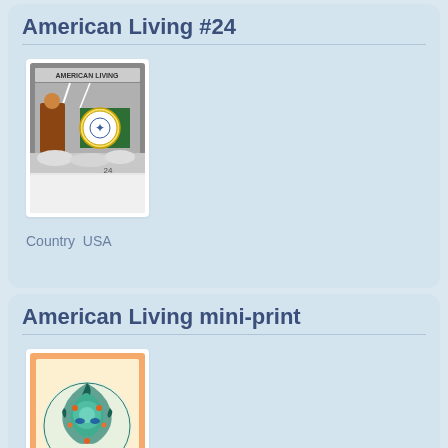American Living #24
[Figure (photo): A trading card or collectible card titled 'American Living' numbered 24, featuring a collage-style image with an eagle medallion, figures, and mixed imagery in black, white and color]
Country  USA
American Living mini-print
[Figure (photo): A framed mini-print with a peach/orange border showing a circular design with intricate colorful folk art patterns in teal, blue, and orange on a cream background]